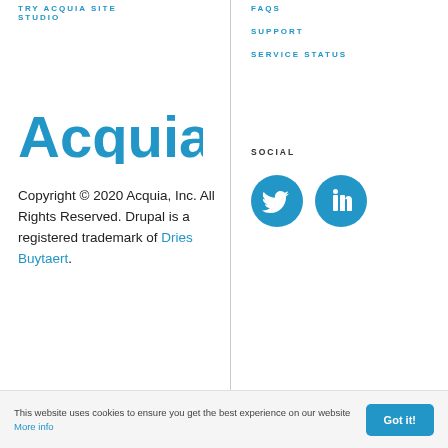TRY ACQUIA SITE STUDIO
FAQS
SUPPORT
SERVICE STATUS
[Figure (logo): Acquia logo in blue text]
Copyright © 2020 Acquia, Inc. All Rights Reserved. Drupal is a registered trademark of Dries Buytaert.
SOCIAL
[Figure (illustration): Twitter and LinkedIn social media icon circles in blue]
This website uses cookies to ensure you get the best experience on our website More info  Got it!